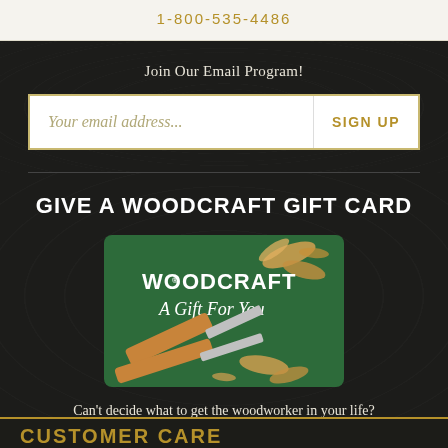1-800-535-4486
Join Our Email Program!
[Figure (infographic): Email signup input field with placeholder 'Your email address...' and a SIGN UP button on the right]
GIVE A WOODCRAFT GIFT CARD
[Figure (photo): Woodcraft gift card on a green background with wood carving tools and wood shavings. Card reads 'WOODCRAFT A Gift For You']
Can't decide what to get the woodworker in your life?
CUSTOMER CARE